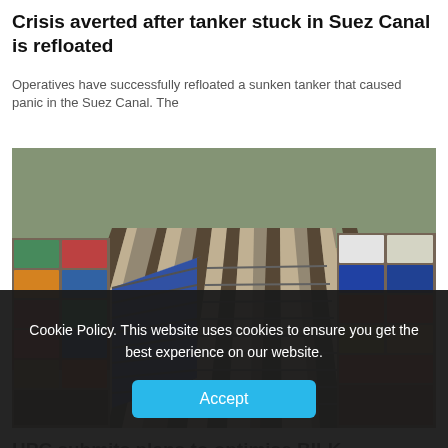Crisis averted after tanker stuck in Suez Canal is refloated
Operatives have successfully refloated a sunken tanker that caused panic in the Suez Canal. The
[Figure (photo): Aerial view of a rail freight yard with multiple tracks and colorful shipping containers stacked on both sides]
HPC submits plans to optimise BILK intermodal terminal
Hamburg Port Consulting (HPC) has put forward operational development
Cookie Policy. This website uses cookies to ensure you get the best experience on our website.